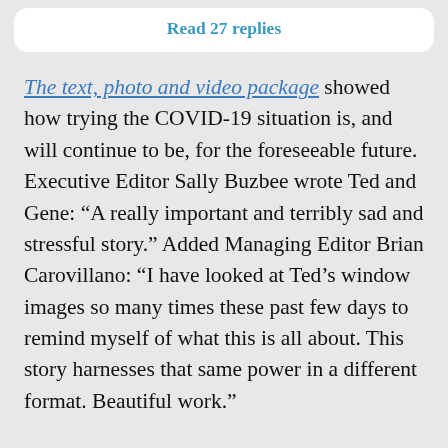Read 27 replies
The text, photo and video package showed how trying the COVID-19 situation is, and will continue to be, for the foreseeable future. Executive Editor Sally Buzbee wrote Ted and Gene: “A really important and terribly sad and stressful story.” Added Managing Editor Brian Carovillano: “I have looked at Ted’s window images so many times these past few days to remind myself of what this is all about. This story harnesses that same power in a different format. Beautiful work.”
For compelling work that conveys the frustrations and despair of families coping with